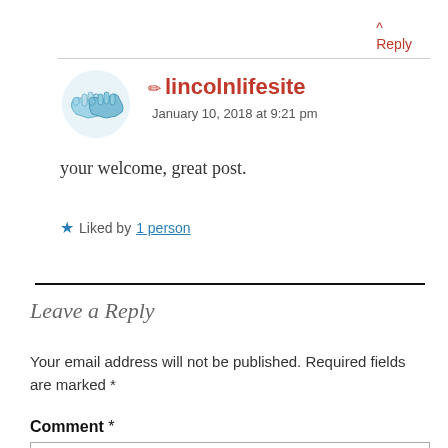^ Reply
[Figure (illustration): Handshake icon in blue tones, showing two hands shaking]
✏ lincolnlifesite
January 10, 2018 at 9:21 pm
your welcome, great post.
★ Liked by 1 person
Leave a Reply
Your email address will not be published. Required fields are marked *
Comment *